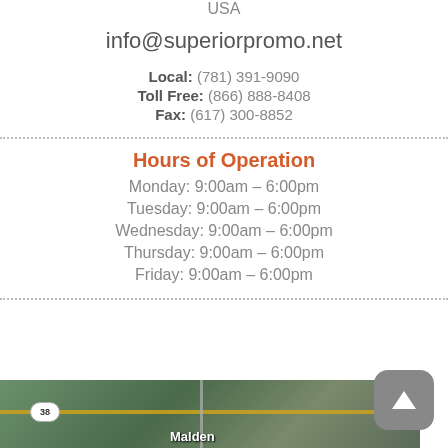USA
info@superiorpromo.net
Local: (781) 391-9090
Toll Free: (866) 888-8408
Fax: (617) 300-8852
Hours of Operation
Monday: 9:00am – 6:00pm
Tuesday: 9:00am – 6:00pm
Wednesday: 9:00am – 6:00pm
Thursday: 9:00am – 6:00pm
Friday: 9:00am – 6:00pm
[Figure (map): Satellite map showing road near Malden area with route 38 badge]